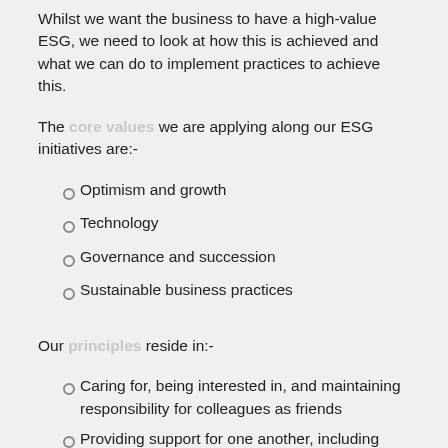Whilst we want the business to have a high-value ESG, we need to look at how this is achieved and what we can do to implement practices to achieve this.
The core values we are applying along our ESG initiatives are:-
Optimism and growth
Technology
Governance and succession
Sustainable business practices
Our principles reside in:-
Caring for, being interested in, and maintaining responsibility for colleagues as friends
Providing support for one another, including offering kindness and compassion when